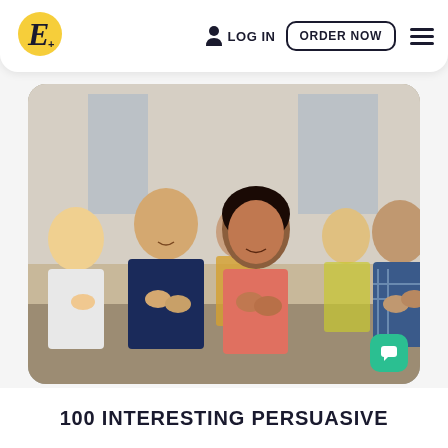EssayPro — LOG IN | ORDER NOW
[Figure (photo): Group of diverse teenagers sitting in an audience and applauding, smiling, in a bright indoor setting. A young woman in a coral top is prominent in the center.]
100 INTERESTING PERSUASIVE